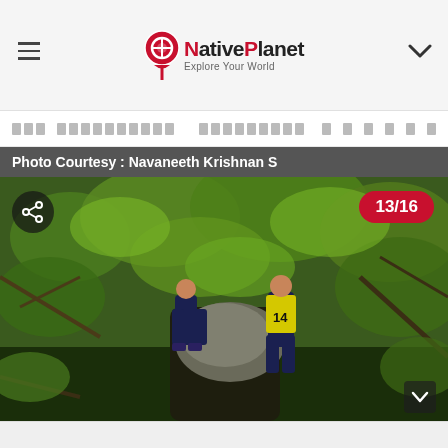NativePlanet - Explore Your World
Nav items (untranslated script text)
Photo Courtesy : Navaneeth Krishnan S
[Figure (photo): Two hikers making their way through dense green forest vegetation, navigating around a large boulder on a jungle trail. Counter badge shows 13/16.]
[Figure (photo): Thumbnail strip at bottom showing partial image previews]